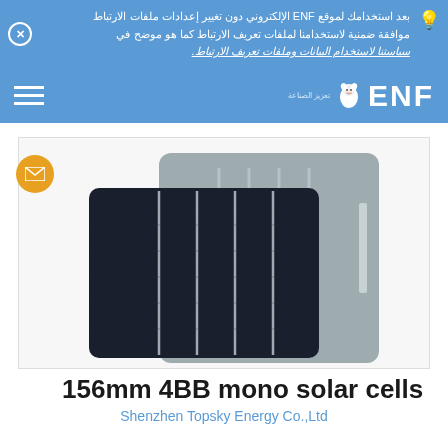بعد استخدامك لموقع ENF الإلكتروني دون تغيير إعدادات ملفات الارتباط موافقة ضمنية لاستخدامنا لملفات تعريف الارتباط كما هو موضح في سياستنا لاستخدام البيانات وملفات تعريف الارتباط.
[Figure (logo): ENF Solar logo with lion mascot and Chinese text]
[Figure (photo): 156mm 4BB mono solar cell product image showing front (dark blue/black monocrystalline cell with 4 busbars) and back (grey cell back) views]
156mm 4BB mono solar cells
Shenzhen Topsky Energy Co.,Ltd